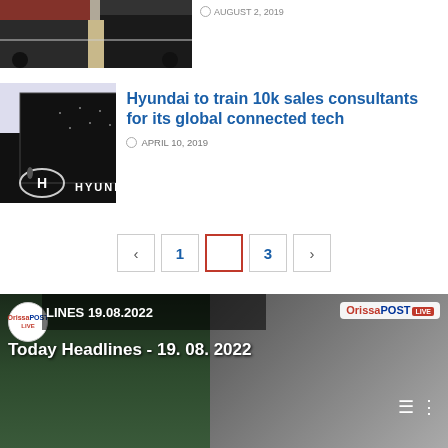[Figure (photo): Top portion of car parking lot photo, partially cropped]
AUGUST 2, 2019
[Figure (photo): Hyundai building exterior at night, large black cube structure with Hyundai logo and signage]
Hyundai to train 10k sales consultants for its global connected tech
APRIL 10, 2019
< 1 2 3 >
[Figure (screenshot): OrissaPOST video player showing Today Headlines - 19.08.2022]